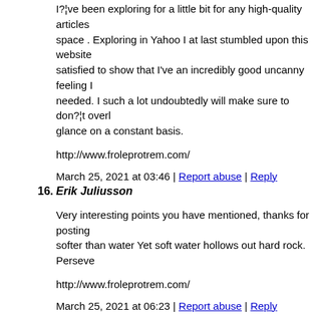I?¦ve been exploring for a little bit for any high-quality articles space . Exploring in Yahoo I at last stumbled upon this website satisfied to show that I've an incredibly good uncanny feeling I needed. I such a lot undoubtedly will make sure to don?¦t overl glance on a constant basis.
http://www.froleprotrem.com/
March 25, 2021 at 03:46 | Report abuse | Reply
16. Erik Juliusson
Very interesting points you have mentioned, thanks for posting softer than water Yet soft water hollows out hard rock. Perseve
http://www.froleprotrem.com/
March 25, 2021 at 06:23 | Report abuse | Reply
17. Dawn Stritzinger
hello!,I like your writing very much! share we communicate m need an expert on this area to solve my problem. May be that's you.
http://www.froleprotrem.com/
March 25, 2021 at 07:43 | Report abuse | Reply